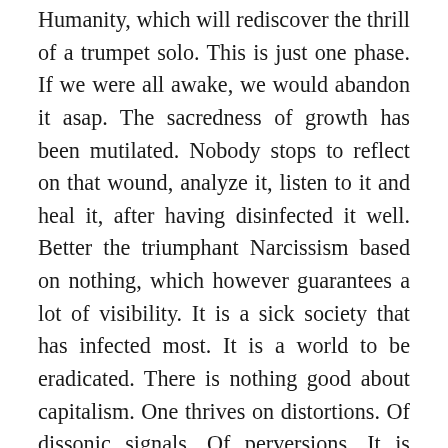Humanity, which will rediscover the thrill of a trumpet solo. This is just one phase. If we were all awake, we would abandon it asap. The sacredness of growth has been mutilated. Nobody stops to reflect on that wound, analyze it, listen to it and heal it, after having disinfected it well. Better the triumphant Narcissism based on nothing, which however guarantees a lot of visibility. It is a sick society that has infected most. It is a world to be eradicated. There is nothing good about capitalism. One thrives on distortions. Of dissonic signals. Of perversions. It is really difficult to find a dimension outside of all this, but it is possible to do so, indeed it is a must, because we deserve to be human, beautiful, proactive, in our impulses and in our representations. I'm trying to stay a man. I don't always have something to say, so I remain silent and listening to my inner world, which I treat with extreme tact. It is time for good Psychiatry, which saves us from the atrocities of which unresolved beings are capable. It is